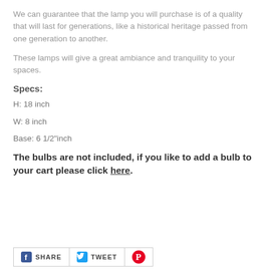We can guarantee that the lamp you will purchase is of a quality that will last for generations, like a historical heritage passed from one generation to another.
These lamps will give a great ambiance and tranquility to your spaces.
Specs:
H: 18 inch
W: 8 inch
Base: 6 1/2" inch
The bulbs are not included, if you like to add a bulb to your cart please click here.
SHARE  TWEET  (Pinterest)